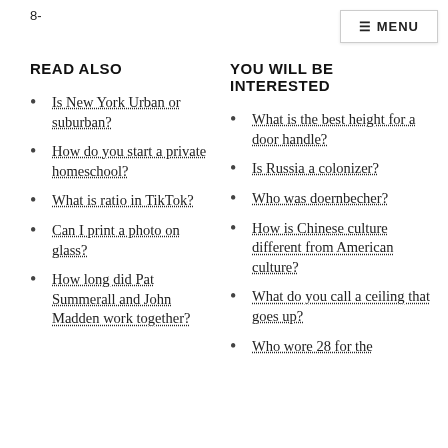8-
READ ALSO
Is New York Urban or suburban?
How do you start a private homeschool?
What is ratio in TikTok?
Can I print a photo on glass?
How long did Pat Summerall and John Madden work together?
YOU WILL BE INTERESTED
What is the best height for a door handle?
Is Russia a colonizer?
Who was doernbecher?
How is Chinese culture different from American culture?
What do you call a ceiling that goes up?
Who wore 28 for the